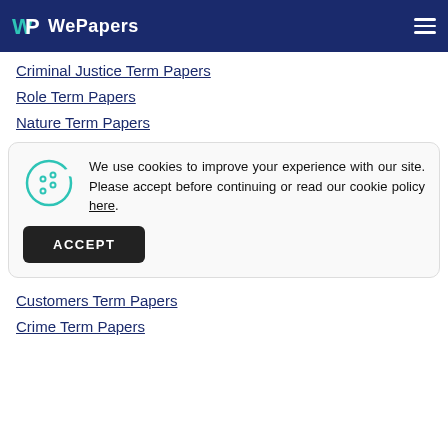WePapers
Criminal Justice Term Papers
Role Term Papers
Nature Term Papers
We use cookies to improve your experience with our site. Please accept before continuing or read our cookie policy here.
Customers Term Papers
Crime Term Papers